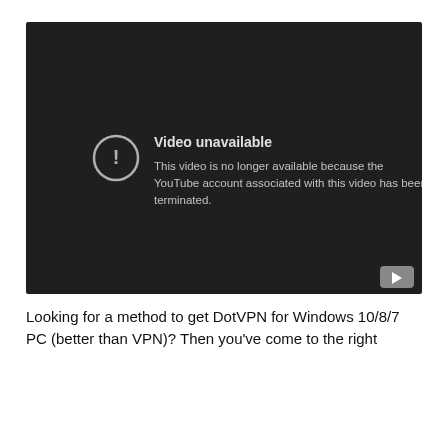[Figure (screenshot): YouTube embedded video player showing an error: 'Video unavailable. This video is no longer available because the YouTube account associated with this video has been terminated.' Dark background with a YouTube logo icon in the bottom-right corner.]
Looking for a method to get DotVPN for Windows 10/8/7 PC (better than VPN)? Then you've come to the right